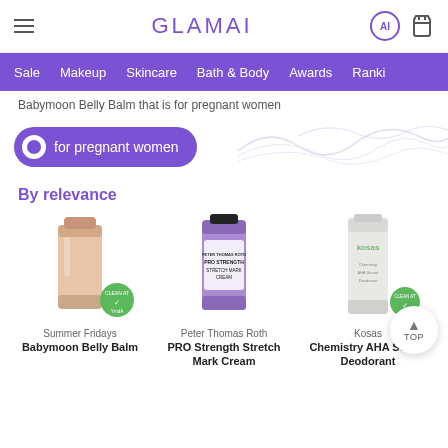GLAMAI
Sale  Makeup  Skincare  Bath & Body  Awards  Ranki
Babymoon Belly Balm that is for pregnant women
for pregnant women
By relevance
[Figure (photo): Summer Fridays Babymoon Belly Balm product tube, peach/nude color with Clean at badge]
Summer Fridays
Babymoon Belly Balm
[Figure (photo): Peter Thomas Roth PRO Strength Stretch Mark Cream product tube, purple color]
Peter Thomas Roth
PRO Strength Stretch Mark Cream
[Figure (photo): Kosas Chemistry AHA Serum Deodorant product tube, white/light color with Clean At badge]
Kosas
Chemistry AHA Serum Deodorant